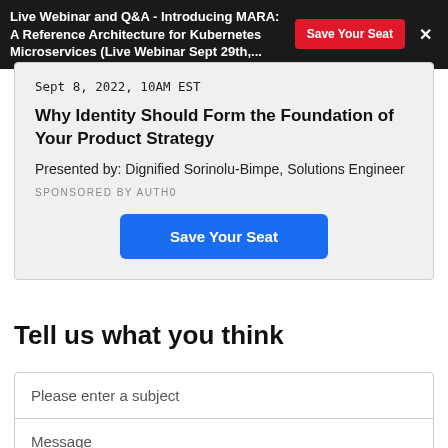Live Webinar and Q&A - Introducing MARA: A Reference Architecture for Kubernetes Microservices (Live Webinar Sept 29th,...
Sept 8, 2022, 10AM EST
Why Identity Should Form the Foundation of Your Product Strategy
Presented by: Dignified Sorinolu-Bimpe, Solutions Engineer
SPONSORED BY AUTH0
Save Your Seat
Tell us what you think
Please enter a subject
Message